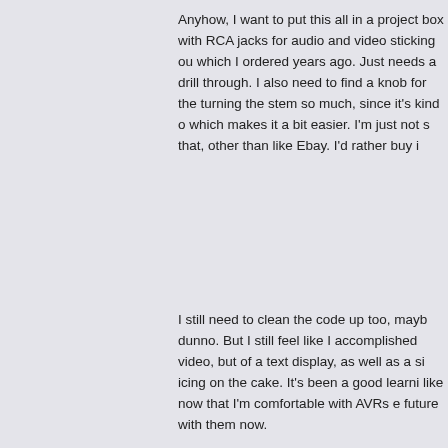Anyhow, I want to put this all in a project box with RCA jacks for audio and video sticking out, which I ordered years ago. Just needs a drill through. I also need to find a knob for the turning the stem so much, since it's kind of which makes it a bit easier. I'm just not su that, other than like Ebay. I'd rather buy it
I still need to clean the code up too, mayb dunno. But I still feel like I accomplished video, but of a text display, as well as a si icing on the cake. It's been a good learni like now that I'm comfortable with AVRs e future with them now.
FyberOptic
King of Earth
Administrator
Hero Member
Posts: 2522
Oh god what is that?
Re: AVR Text Console / Pong Sys « Reply #1 on: November 13, 2010, 12:2 am »
I initially just did some static images as a anyone's curious.
And some of the photos of other junk I stu